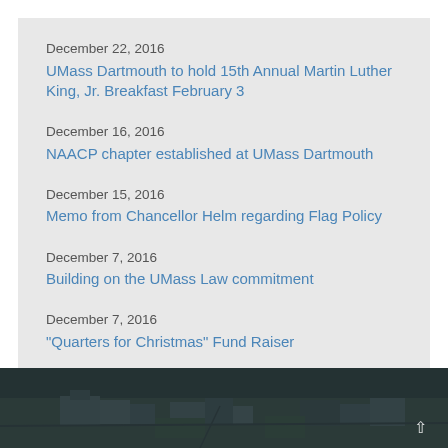December 22, 2016
UMass Dartmouth to hold 15th Annual Martin Luther King, Jr. Breakfast February 3
December 16, 2016
NAACP chapter established at UMass Dartmouth
December 15, 2016
Memo from Chancellor Helm regarding Flag Policy
December 7, 2016
Building on the UMass Law commitment
December 7, 2016
"Quarters for Christmas" Fund Raiser
[Figure (photo): Aerial view of UMass Dartmouth campus, dark toned photograph showing buildings and green fields]